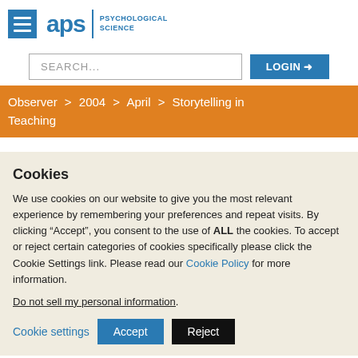APS | PSYCHOLOGICAL SCIENCE
[Figure (logo): APS (Association for Psychological Science) logo with hamburger menu icon on left and text 'PSYCHOLOGICAL SCIENCE' on right]
SEARCH...  LOGIN
Observer > 2004 > April > Storytelling in Teaching
Cookies
We use cookies on our website to give you the most relevant experience by remembering your preferences and repeat visits. By clicking “Accept”, you consent to the use of ALL the cookies. To accept or reject certain categories of cookies specifically please click the Cookie Settings link. Please read our Cookie Policy for more information.
Do not sell my personal information.
Cookie settings  Accept  Reject